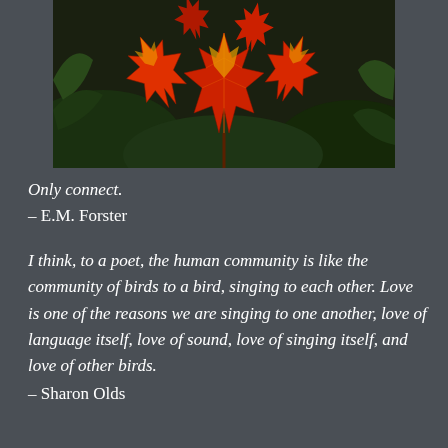[Figure (photo): Close-up photograph of red and yellow autumn maple leaves against a dark green background]
Only connect.
– E.M. Forster
I think, to a poet, the human community is like the community of birds to a bird, singing to each other. Love is one of the reasons we are singing to one another, love of language itself, love of sound, love of singing itself, and love of other birds.
– Sharon Olds
Hello friends. The autumnal equinox is almost upon us, that great shifting of light across the world that heralds the dip toward winter here in